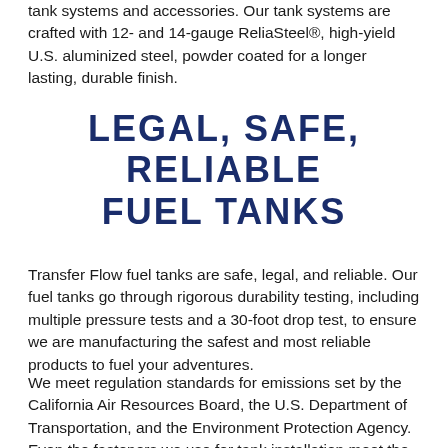tank systems and accessories. Our tank systems are crafted with 12- and 14-gauge ReliaSteel®, high-yield U.S. aluminized steel, powder coated for a longer lasting, durable finish.
LEGAL, SAFE, RELIABLE FUEL TANKS
Transfer Flow fuel tanks are safe, legal, and reliable. Our fuel tanks go through rigorous durability testing, including multiple pressure tests and a 30-foot drop test, to ensure we are manufacturing the safest and most reliable products to fuel your adventures.
We meet regulation standards for emissions set by the California Air Resources Board, the U.S. Department of Transportation, and the Environment Protection Agency. Even the fasteners we use for tank installation meet the regulations specified by the American National Standards Institute, the National Fire Protection Association, and the Recreation